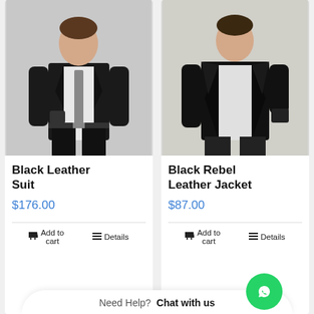[Figure (photo): Man wearing a black leather suit jacket with white shirt and grey tie, posed against white background]
Black Leather Suit
$176.00
Add to cart
Details
[Figure (photo): Man wearing a black rebel leather jacket with white shirt, posed against white background]
Black Rebel Leather Jacket
$87.00
Add to cart
Need Help? Chat with us